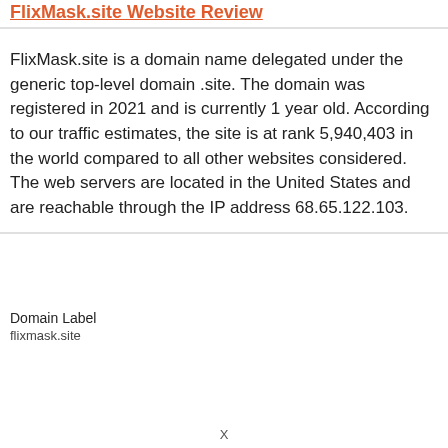FlixMask.site Website Review
FlixMask.site is a domain name delegated under the generic top-level domain .site. The domain was registered in 2021 and is currently 1 year old. According to our traffic estimates, the site is at rank 5,940,403 in the world compared to all other websites considered. The web servers are located in the United States and are reachable through the IP address 68.65.122.103.
Domain Label
flixmask.site
X